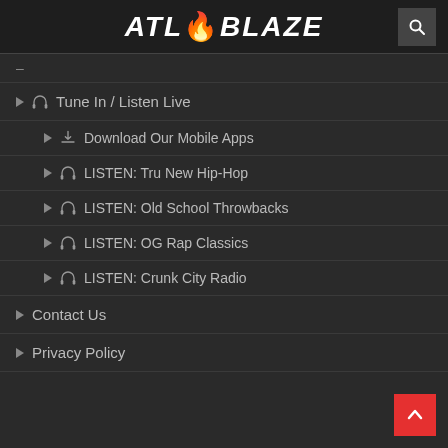[Figure (logo): ATL Blaze logo with flame icon, white bold italic text on dark background]
–
▶ 🎧 Tune In / Listen Live
▶ ⬇ Download Our Mobile Apps
▶ 🎧 LISTEN: Tru New Hip-Hop
▶ 🎧 LISTEN: Old School Throwbacks
▶ 🎧 LISTEN: OG Rap Classics
▶ 🎧 LISTEN: Crunk City Radio
▶ Contact Us
▶ Privacy Policy